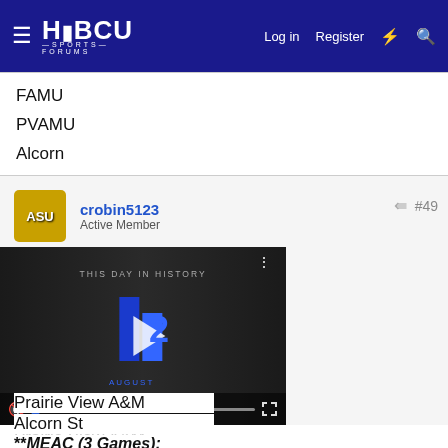HBCU SPORTS FORUMS | Log in | Register
FAMU
PVAMU
Alcorn
crobin5123 - Active Member
[Figure (screenshot): Embedded video player showing 'THIS DAY IN HISTORY' with a B2 logo and August label, with playback controls at the bottom.]
Prairie View A&M
Alcorn St

**MEAC (3 Games):
Saturday – October 23, 2021